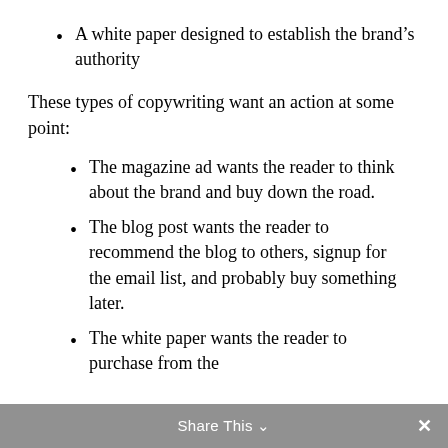A white paper designed to establish the brand's authority
These types of copywriting want an action at some point:
The magazine ad wants the reader to think about the brand and buy down the road.
The blog post wants the reader to recommend the blog to others, signup for the email list, and probably buy something later.
The white paper wants the reader to purchase from the
Share This ∨  ✕